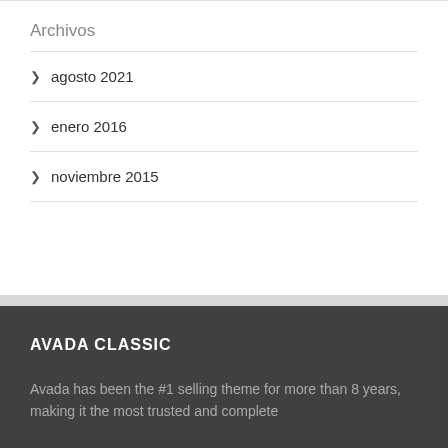Archivos
agosto 2021
enero 2016
noviembre 2015
AVADA CLASSIC
Avada has been the #1 selling theme for more than 8 years, making it the most trusted and complete